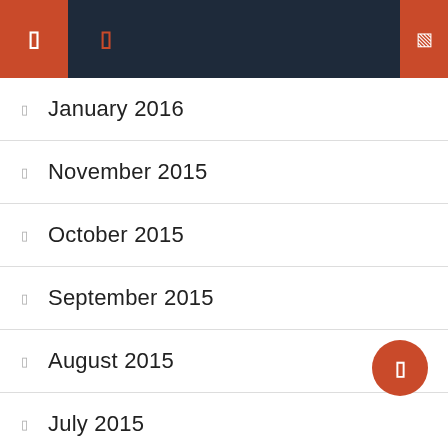Navigation header with menu and search icons
January 2016
November 2015
October 2015
September 2015
August 2015
July 2015
June 2015
May 2015
March 2015
February 2015